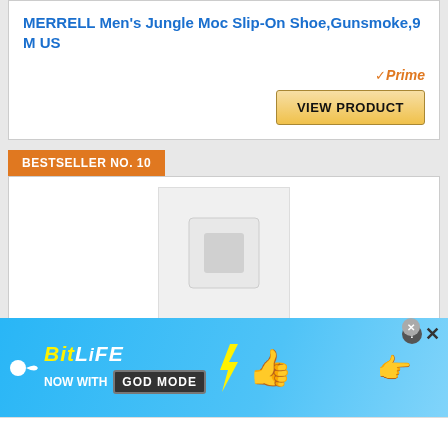MERRELL Men's Jungle Moc Slip-On Shoe,Gunsmoke,9 M US
[Figure (other): Amazon Prime badge with orange checkmark and 'Prime' text]
VIEW PRODUCT
BESTSELLER NO. 10
[Figure (photo): Product image placeholder for SILENTCARE Hiking Boots]
SILENTCARE Hiking Boots for Men Waterproof Lightweight Non Slip Mid-
[Figure (other): BitLife advertisement banner: 'NOW WITH GOD MODE' text with cartoon thumb and pointing hand graphics]